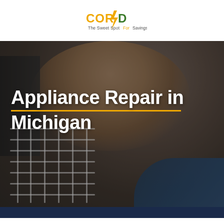[Figure (logo): CORKD logo with lightning bolt. Text reads: CORKD - The Sweet Spot For Savings. Green and orange brand colors.]
[Figure (photo): A man with dark hair and beard leaning over and working on a dishwasher or kitchen appliance. He is wearing a blue work shirt. The background shows appliance racks and dark kitchen equipment. The image is slightly darkened/desaturated.]
Appliance Repair in Michigan